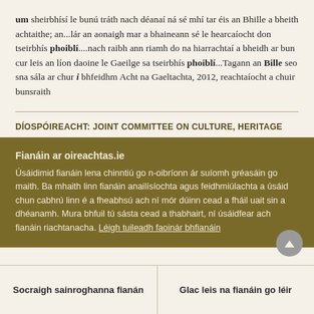um sheirbhísí le bunú tráth nach déanaí ná sé mhí tar éis an Bhille a bheith achtaithe; an...lár an aonaigh mar a bhaineann sé le hearcaíocht don tseirbhís phoiblí....nach raibh ann riamh do na hiarrachtaí a bheidh ar bun cur leis an líon daoine le Gaeilge sa tseirbhís phoiblí...Tagann an Bille seo sna sála ar chur i bhfeidhm Acht na Gaeltachta, 2012, reachtaíocht a chuir bunsraith
DÍOSPÓIREACHT: JOINT COMMITTEE ON CULTURE, HERITAGE
Fianáin ar oireachtas.ie
Úsáidimid fianáin lena chinntiú go n-oibríonn ár suíomh gréasáin go maith. Ba mhaith linn fianáin anailísíochta agus feidhmiúlachta a úsáid chun cabhrú linn é a fheabhsú ach ní mór dúinn cead a fháil uait sin a dhéanamh. Mura bhfuil tú sásta cead a thabhairt, ní úsáidfear ach fianáin riachtanacha. Léigh tuileadh faoinár bhfianáin
Socraigh sainroghanna fianán
Glac leis na fianáin go léir